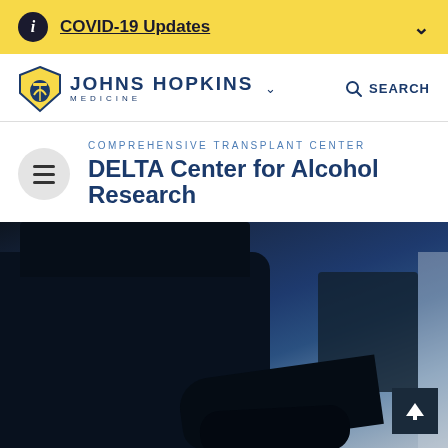COVID-19 Updates
[Figure (logo): Johns Hopkins Medicine logo with shield icon]
SEARCH
COMPREHENSIVE TRANSPLANT CENTER
DELTA Center for Alcohol Research
[Figure (photo): Close-up photo of dark medical or laboratory equipment with cables, blue-toned background]